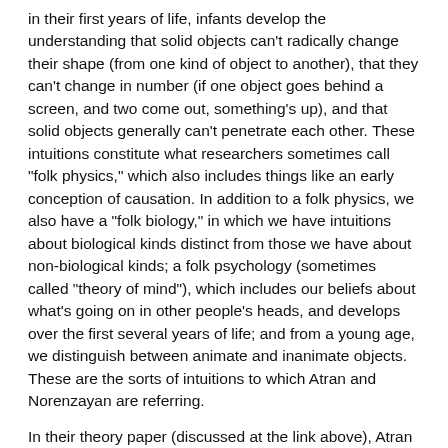in their first years of life, infants develop the understanding that solid objects can't radically change their shape (from one kind of object to another), that they can't change in number (if one object goes behind a screen, and two come out, something's up), and that solid objects generally can't penetrate each other. These intuitions constitute what researchers sometimes call "folk physics," which also includes things like an early conception of causation. In addition to a folk physics, we also have a "folk biology," in which we have intuitions about biological kinds distinct from those we have about non-biological kinds; a folk psychology (sometimes called "theory of mind"), which includes our beliefs about what's going on in other people's heads, and develops over the first several years of life; and from a young age, we distinguish between animate and inanimate objects. These are the sorts of intuitions to which Atran and Norenzayan are referring.
In their theory paper (discussed at the link above), Atran and Norenzayan argue that one of the universal features of religious narratives is that they include counterintuitive beliefs. These beliefs violate intuitions in one or more of the "folk theories" mentioned above. They write2: